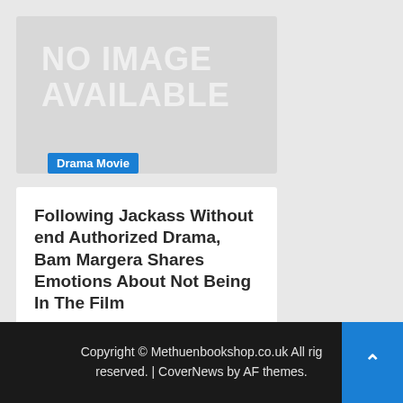[Figure (other): No image available placeholder - gray rectangle with 'NO IMAGE AVAILABLE' text and 'Drama Movie' blue badge]
Following Jackass Without end Authorized Drama, Bam Margera Shares Emotions About Not Being In The Film
1 day ago  George Noyce
Copyright © Methuenbookshop.co.uk All rights reserved. | CoverNews by AF themes.